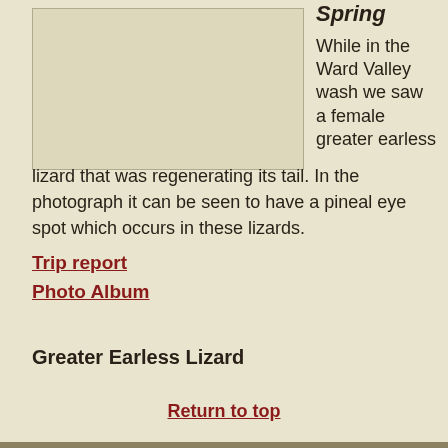[Figure (photo): Photo placeholder of a female greater earless lizard in the Ward Valley wash]
Spring
While in the Ward Valley wash we saw a female greater earless lizard that was regenerating its tail. In the photograph it can be seen to have a pineal eye spot which occurs in these lizards.
Trip report
Photo Album
Greater Earless Lizard
Return to top